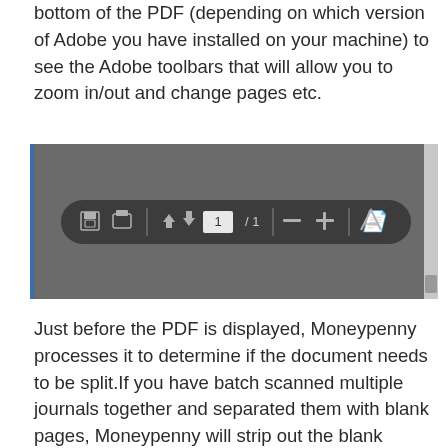bottom of the PDF (depending on which version of Adobe you have installed on your machine) to see the Adobe toolbars that will allow you to zoom in/out and change pages etc.
[Figure (screenshot): Screenshot of a PDF viewer toolbar showing a dark grey background with a navigation bar containing: save icon, print icon, up/down arrow navigation buttons, page number input showing '1' with '/ 1' page count, minus and plus zoom buttons, and an Adobe acrobat icon.]
Just before the PDF is displayed, Moneypenny processes it to determine if the document needs to be split.If you have batch scanned multiple journals together and separated them with blank pages, Moneypenny will strip out the blank pages and present you with one document at a time, which may have multiple pages (depending on where you inserted the